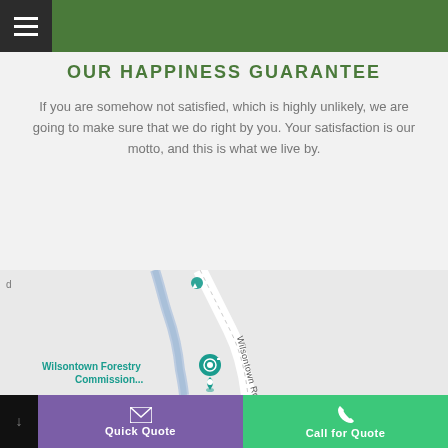OUR HAPPINESS GUARANTEE
If you are somehow not satisfied, which is highly unlikely, we are going to make sure that we do right by you. Your satisfaction is our motto, and this is what we live by.
[Figure (map): Google Maps view showing Wilsontown Rd with a river/stream running alongside it, and a pin for Wilsontown Forestry Commission...]
Quick Quote | Call for Quote